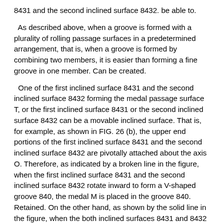8431 and the second inclined surface 8432. be able to.
As described above, when a groove is formed with a plurality of rolling passage surfaces in a predetermined arrangement, that is, when a groove is formed by combining two members, it is easier than forming a fine groove in one member. Can be created.
One of the first inclined surface 8431 and the second inclined surface 8432 forming the medal passage surface T, or the first inclined surface 8431 or the second inclined surface 8432 can be a movable inclined surface. That is, for example, as shown in FIG. 26 (b), the upper end portions of the first inclined surface 8431 and the second inclined surface 8432 are pivotally attached about the axis O. Therefore, as indicated by a broken line in the figure, when the first inclined surface 8431 and the second inclined surface 8432 rotate inward to form a V-shaped groove 840, the medal M is placed in the groove 840. Retained. On the other hand, as shown by the solid line in the figure, when the both inclined surfaces 8431 and 8432 are rotated outward and positioned in the vertical direction, the medal M can be immediately dropped. Therefore, when